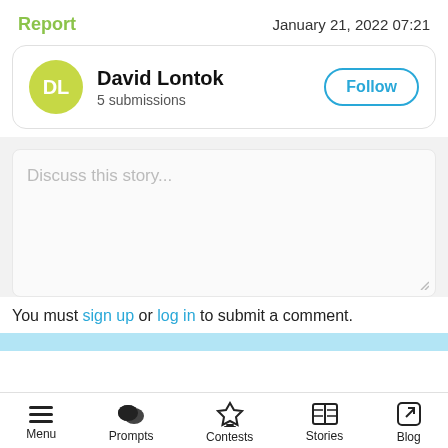Report · January 21, 2022 07:21
David Lontok
5 submissions
Follow
Discuss this story...
You must sign up or log in to submit a comment.
Menu | Prompts | Contests | Stories | Blog